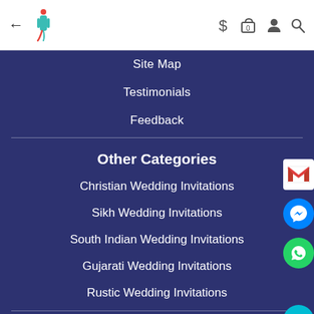← [logo] $ 🛒 0 👤 🔍
Site Map
Testimonials
Feedback
Other Categories
Christian Wedding Invitations
Sikh Wedding Invitations
South Indian Wedding Invitations
Gujarati Wedding Invitations
Rustic Wedding Invitations
Single Sheet Cards